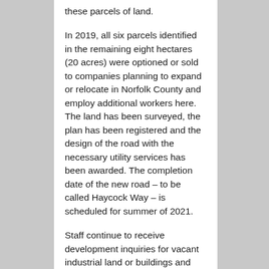these parcels of land.
In 2019, all six parcels identified in the remaining eight hectares (20 acres) were optioned or sold to companies planning to expand or relocate in Norfolk County and employ additional workers here. The land has been surveyed, the plan has been registered and the design of the road with the necessary utility services has been awarded. The completion date of the new road – to be called Haycock Way – is scheduled for summer of 2021.
Staff continue to receive development inquiries for vacant industrial land or buildings and staff are in the process of developing an industrial land strategy to proactively address the development demands from outside investors. With our business foundation routed in